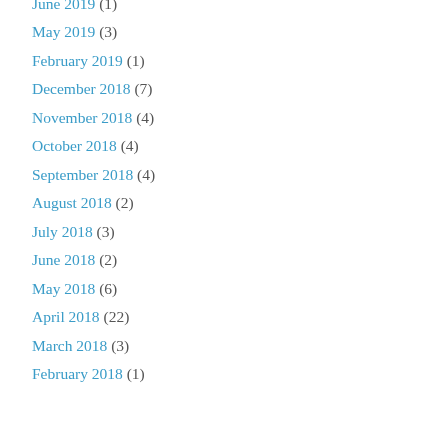June 2019 (1)
May 2019 (3)
February 2019 (1)
December 2018 (7)
November 2018 (4)
October 2018 (4)
September 2018 (4)
August 2018 (2)
July 2018 (3)
June 2018 (2)
May 2018 (6)
April 2018 (22)
March 2018 (3)
February 2018 (1)